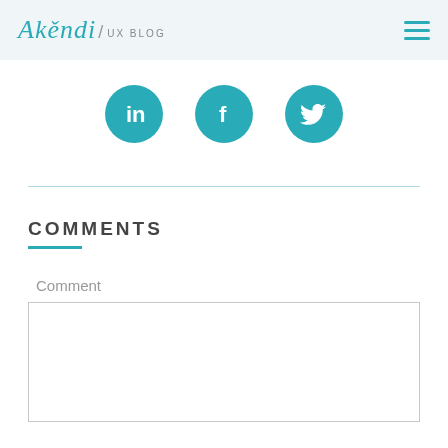Akendi / UX BLOG
[Figure (infographic): Three circular social media icons: LinkedIn (in), Facebook (f), and Twitter (bird) in teal/dark cyan color]
COMMENTS
Comment
[Figure (other): Empty comment text area input box]